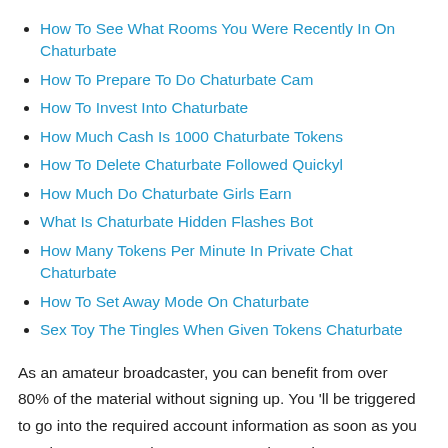How To See What Rooms You Were Recently In On Chaturbate
How To Prepare To Do Chaturbate Cam
How To Invest Into Chaturbate
How Much Cash Is 1000 Chaturbate Tokens
How To Delete Chaturbate Followed Quickyl
How Much Do Chaturbate Girls Earn
What Is Chaturbate Hidden Flashes Bot
How Many Tokens Per Minute In Private Chat Chaturbate
How To Set Away Mode On Chaturbate
Sex Toy The Tingles When Given Tokens Chaturbate
As an amateur broadcaster, you can benefit from over 80% of the material without signing up. You 'll be triggered to go into the required account information as soon as you 've chosen your web cam. Your gender and age are required to register, as is your privacy policy. You can also select to display your genuine name